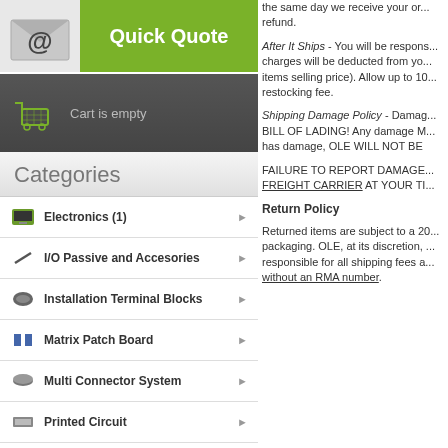[Figure (logo): Quick Quote banner with email envelope icon on grey background and green section with bold white text 'Quick Quote']
[Figure (other): Shopping cart icon on dark grey background with text 'Cart is empty']
Categories
Electronics (1)
I/O Passive and Accesories
Installation Terminal Blocks
Matrix Patch Board
Multi Connector System
Printed Circuit
the same day we receive your or... refund.
After It Ships - You will be respons... charges will be deducted from yo... items selling price). Allow up to 10... restocking fee.
Shipping Damage Policy - Damag... BILL OF LADING! Any damage M... has damage, OLE WILL NOT BE
FAILURE TO REPORT DAMAGE... FREIGHT CARRIER AT YOUR TI...
Return Policy
Returned items are subject to a 20... packaging. OLE, at its discretion, ... responsible for all shipping fees a... without an RMA number.